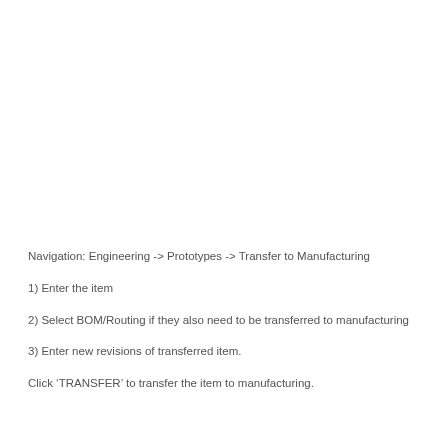Navigation: Engineering -> Prototypes -> Transfer to Manufacturing
1) Enter the item
2) Select BOM/Routing if they also need to be transferred to manufacturing
3) Enter new revisions of transferred item.
Click ‘TRANSFER’ to transfer the item to manufacturing.